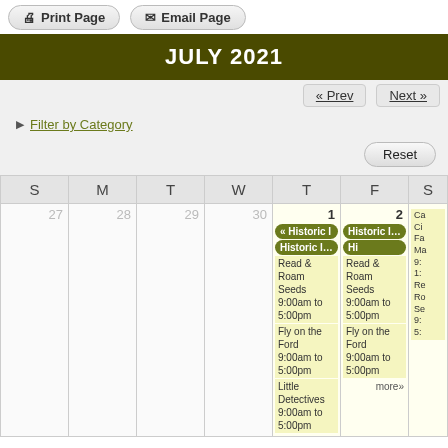Print Page | Email Page
JULY 2021
« Prev   Next »
▶ Filter by Category
Reset
| S | M | T | W | T | F | S |
| --- | --- | --- | --- | --- | --- | --- |
| 27 | 28 | 29 | 30 | 1 | 2 |  |
|  |  |  |  | « Historic I
Historic Indiana En Plein .
Read & Roam Seeds 9:00am to 5:00pm
Fly on the Ford 9:00am to 5:00pm
Little Detectives 9:00am to 5:00pm | Historic Indiana
Hi
Read & Roam Seeds 9:00am to 5:00pm
Fly on the Ford 9:00am to 5:00pm
more» | Ca
Ci
Fa
Ma
9:
1:
Ro
Se
9:
5: |